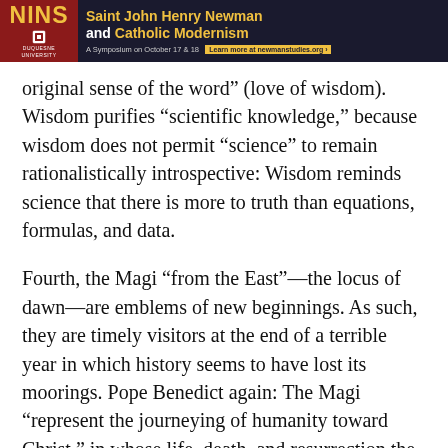[Figure (other): Banner advertisement for NINS at Duquesne University: 'Saint John Henry Newman and Catholic Modernism — A Symposium on October 17 & 18. Learn more at newmanstudies.org']
original sense of the word” (love of wisdom). Wisdom purifies “scientific knowledge,” because wisdom does not permit “science” to remain rationalistically introspective: Wisdom reminds science that there is more to truth than equations, formulas, and data.
Fourth, the Magi “from the East”—the locus of dawn—are emblems of new beginnings. As such, they are timely visitors at the end of a terrible year in which history seems to have lost its moorings. Pope Benedict again: The Magi “represent the journeying of humanity toward Christ,” in whose life, death, and resurrection the human story begins anew. The Magi “initiate a procession that continues throughout